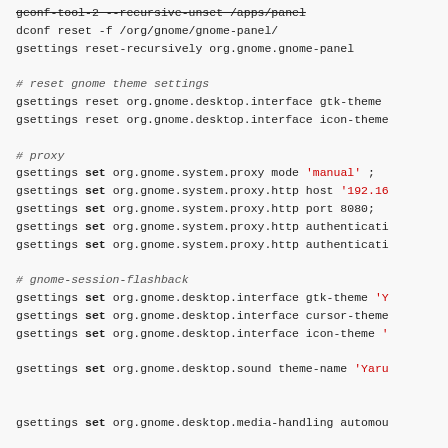gconf-tool-2 --recursive-unset /apps/panel
dconf reset -f /org/gnome/gnome-panel/
gsettings reset-recursively org.gnome.gnome-panel

# reset gnome theme settings
gsettings reset org.gnome.desktop.interface gtk-theme
gsettings reset org.gnome.desktop.interface icon-theme

# proxy
gsettings set org.gnome.system.proxy mode 'manual' ;
gsettings set org.gnome.system.proxy.http host '192.16
gsettings set org.gnome.system.proxy.http port 8080;
gsettings set org.gnome.system.proxy.http authenticati
gsettings set org.gnome.system.proxy.http authenticati

# gnome-session-flashback
gsettings set org.gnome.desktop.interface gtk-theme 'Y
gsettings set org.gnome.desktop.interface cursor-theme
gsettings set org.gnome.desktop.interface icon-theme '

gsettings set org.gnome.desktop.sound theme-name 'Yaru


gsettings set org.gnome.desktop.media-handling automou




# ltsp
# http://unix.stackexchange.com/questions/27484/set-de